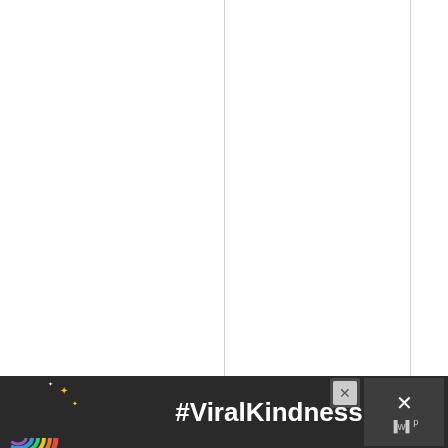making sandwiches out of it as described above, and the cheese on top might get stringy and “foxy,” to use the author’s words,
[Figure (infographic): Advertisement banner with rainbow illustration and #ViralKindness hashtag text on dark background, with close buttons]